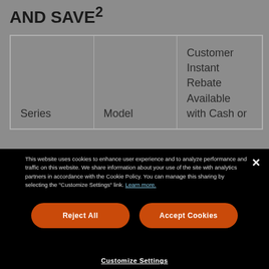AND SAVE²
| Series | Model | Customer Instant Rebate Available with Cash or |
| --- | --- | --- |
This website uses cookies to enhance user experience and to analyze performance and traffic on this website. We share information about your use of the site with analytics partners in accordance with the Cookie Policy. You can manage this sharing by selecting the "Customize Settings" link. Learn more.
Reject All
Accept Cookies
Customize Settings